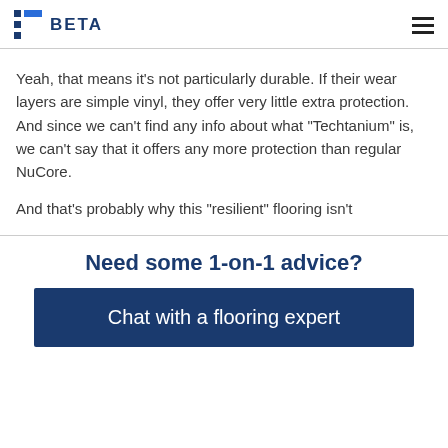BETA
Yeah, that means it’s not particularly durable. If their wear layers are simple vinyl, they offer very little extra protection. And since we can’t find any info about what “Techtanium” is, we can’t say that it offers any more protection than regular NuCore.
And that’s probably why this “resilient” flooring isn’t
Need some 1-on-1 advice?
Chat with a flooring expert